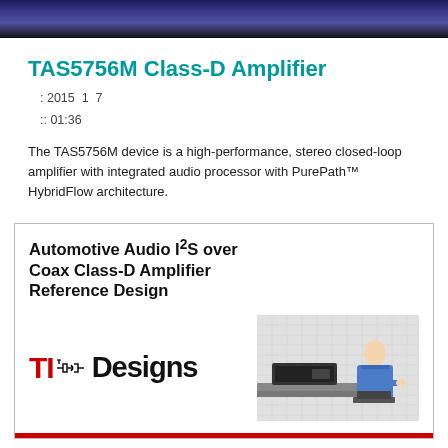[Figure (photo): Top banner image showing a person in a video presentation, dark blue/purple background]
TAS5756M Class-D Amplifier
: 2015  1  7
:: 01:36
The TAS5756M device is a high-performance, stereo closed-loop amplifier with integrated audio processor with PurePath™ HybridFlow architecture.
[Figure (other): Card showing Automotive Audio I2S over Coax Class-D Amplifier Reference Design with TI Designs logo and a photo of a person in blue lab coat working with audio equipment]